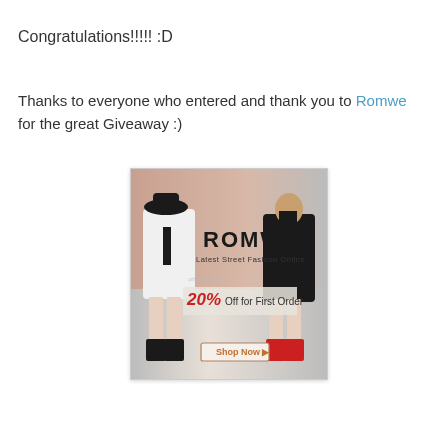Congratulations!!!!! :D
Thanks to everyone who entered and thank you to Romwe for the great Giveaway :)
[Figure (photo): Romwe fashion advertisement banner showing two female models wearing black and white outfits with text 'ROMWE Latest Street Fashion Online', '20% Off for First Order', and 'Shop Now' button]